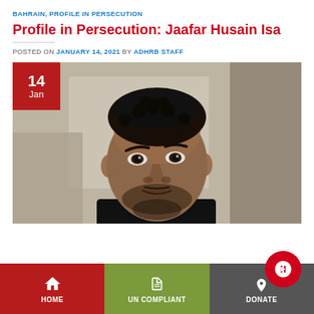BAHRAIN, PROFILE IN PERSECUTION
Profile in Persecution: Jaafar Husain Isa
POSTED ON JANUARY 14, 2021 BY ADHRB STAFF
[Figure (photo): Portrait photo of a young man with short curly dark hair and short beard, wearing a black shirt, photographed outdoors with blurred background. A red date badge in the top-left corner shows '14 Jan'.]
HOME  UN COMPLIANT  DONATE